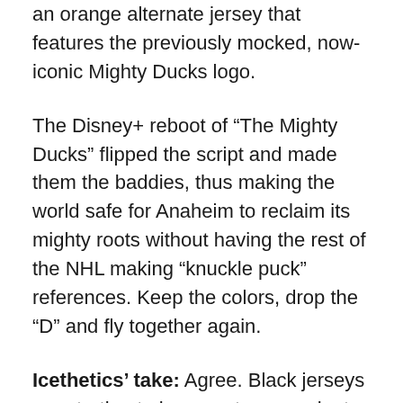an orange alternate jersey that features the previously mocked, now-iconic Mighty Ducks logo.
The Disney+ reboot of “The Mighty Ducks” flipped the script and made them the baddies, thus making the world safe for Anaheim to reclaim its mighty roots without having the rest of the NHL making “knuckle puck” references. Keep the colors, drop the “D” and fly together again.
Icethetics’ take: Agree. Black jerseys are starting to become too prevalent again in hockey. Plus, who doesn’t love the old Mighty Ducks logo? I’m up for seeing it come back, maybe with a few modern design touches. And keep the current colors. That orange third jersey always looks great on the ice. Save the eggplant and jade color palette for special occasions and level out those angular stripes.